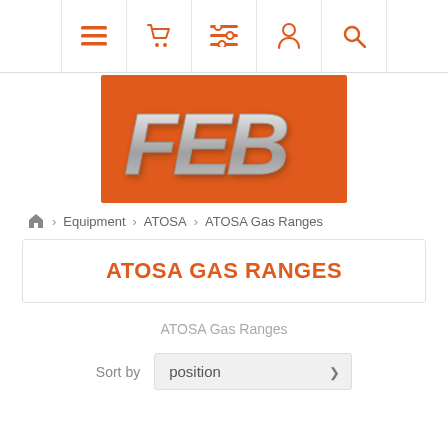Navigation bar with menu, cart, list, account, search icons
[Figure (logo): FEB logo — silver italic bold FEB text on orange background]
🏠 > Equipment > ATOSA > ATOSA Gas Ranges
ATOSA GAS RANGES
ATOSA Gas Ranges
Sort by  position